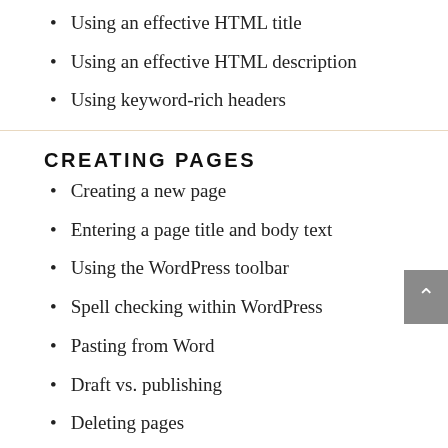Using an effective HTML title
Using an effective HTML description
Using keyword-rich headers
CREATING PAGES
Creating a new page
Entering a page title and body text
Using the WordPress toolbar
Spell checking within WordPress
Pasting from Word
Draft vs. publishing
Deleting pages